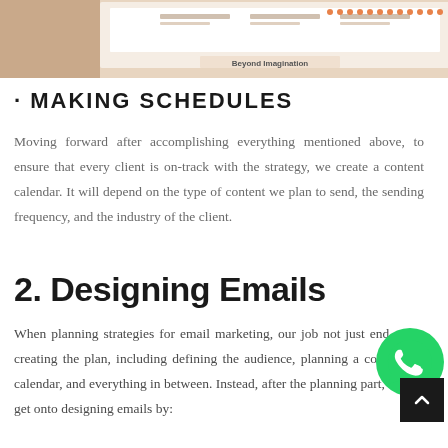[Figure (screenshot): Top banner image showing a presentation slide with text and dotted orange pattern on right side, with 'Beyond Imagination' text visible]
· MAKING SCHEDULES
Moving forward after accomplishing everything mentioned above, to ensure that every client is on-track with the strategy, we create a content calendar. It will depend on the type of content we plan to send, the sending frequency, and the industry of the client.
2. Designing Emails
When planning strategies for email marketing, our job not just end at creating the plan, including defining the audience, planning a content calendar, and everything in between. Instead, after the planning part, we get onto designing emails by: